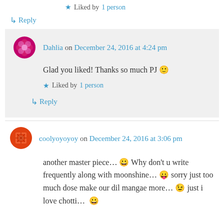★ Liked by 1 person
↳ Reply
Dahlia on December 24, 2016 at 4:24 pm
Glad you liked! Thanks so much PJ 🙂
★ Liked by 1 person
↳ Reply
coolyoyoyoy on December 24, 2016 at 3:06 pm
another master piece... 😀 Why don't u write frequently along with moonshine... 😛 sorry just too much dose make our dil mangae more... 😉 just i love chotti… 😀